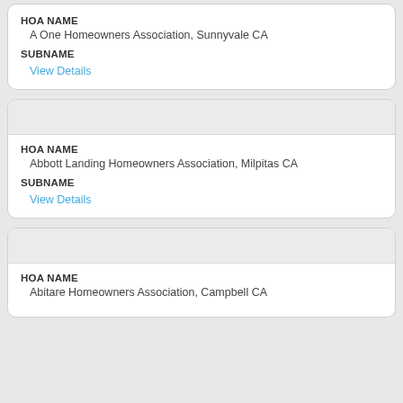HOA NAME
A One Homeowners Association, Sunnyvale CA
SUBNAME
View Details
HOA NAME
Abbott Landing Homeowners Association, Milpitas CA
SUBNAME
View Details
HOA NAME
Abitare Homeowners Association, Campbell CA